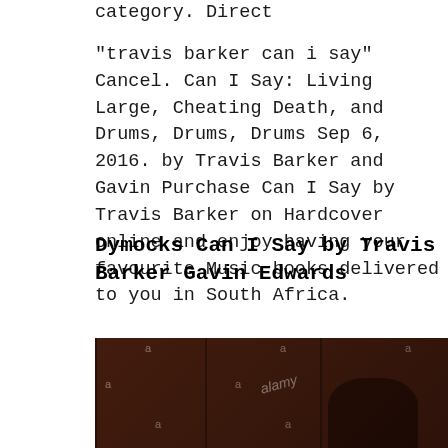category. Direct
"travis barker can i say" Cancel. Can I Say: Living Large, Cheating Death, and Drums, Drums, Drums Sep 6, 2016. by Travis Barker and Gavin Purchase Can I Say by Travis Barker on Hardcover online and enjoy having your favourite Music books delivered to you in South Africa.
Dymocks Can I Say by Travis Barker Gavin Edwards
[Figure (photo): Watermarked Alamy stock photo showing dark reddish-brown background, possibly drum-related, with 'alamy' watermark text repeated across the image.]